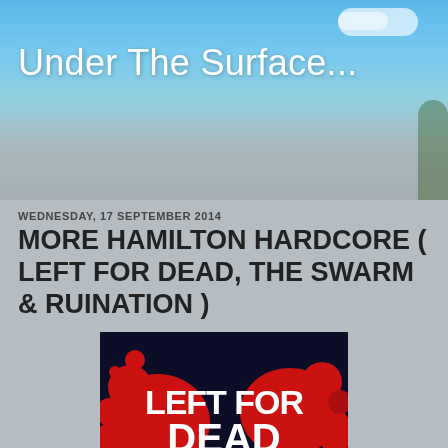Under The Surface...
WEDNESDAY, 17 SEPTEMBER 2014
MORE HAMILTON HARDCORE ( LEFT FOR DEAD, THE SWARM & RUINATION )
[Figure (logo): Left For Dead band logo — white distressed text 'LEFT FOR DEAD' on a dark navy background with red ink splatter designs]